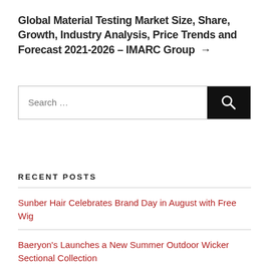Global Material Testing Market Size, Share, Growth, Industry Analysis, Price Trends and Forecast 2021-2026 – IMARC Group →
[Figure (other): Search bar with text input area showing 'Search …' placeholder and a black button with a magnifying glass search icon]
RECENT POSTS
Sunber Hair Celebrates Brand Day in August with Free Wig
Baeryon's Launches a New Summer Outdoor Wicker Sectional Collection